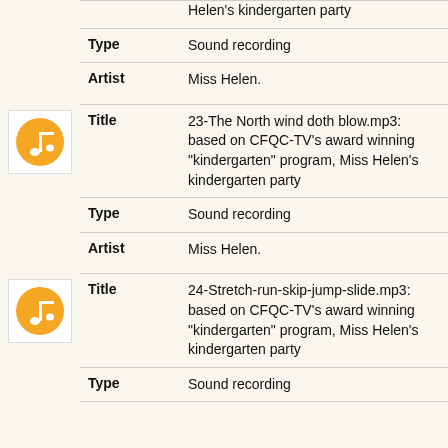Helen's kindergarten party
Type: Sound recording
Artist: Miss Helen.
Title: 23-The North wind doth blow.mp3: based on CFQC-TV's award winning "kindergarten" program, Miss Helen's kindergarten party
Type: Sound recording
Artist: Miss Helen.
Title: 24-Stretch-run-skip-jump-slide.mp3: based on CFQC-TV's award winning "kindergarten" program, Miss Helen's kindergarten party
Type: Sound recording